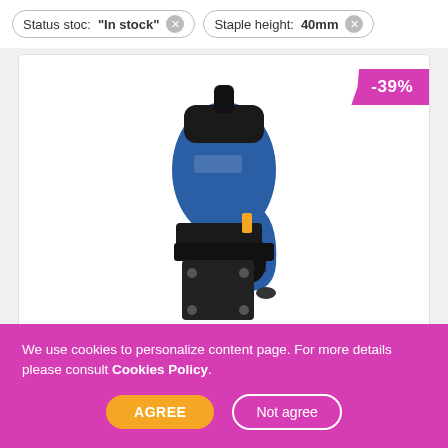Status stoc: "In stock"  Staple height: 40mm
[Figure (photo): Rapid Pneumatic Dual Gun PBS151 in blue and black color, with -39% discount badge in top right corner]
Rapid Pneumatic Dual Gun PBS151 kit, staples 90/20-40mm, nails 8/15-50mm,
859,62Lei
We use cookies to personalize content page. For more details please consult Cookies Policy.
AGREE
Not agree